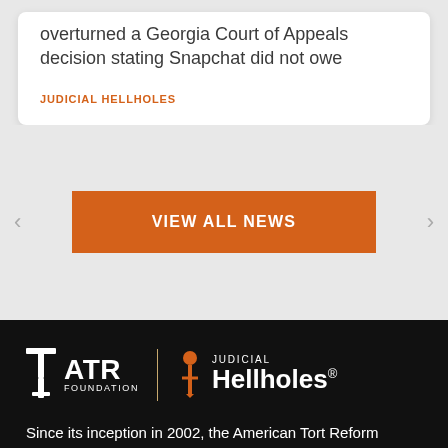overturned a Georgia Court of Appeals decision stating Snapchat did not owe
JUDICIAL HELLHOLES
VIEW ALL NEWS
[Figure (logo): ATR Foundation and Judicial Hellholes logos side by side on black background]
Since its inception in 2002, the American Tort Reform